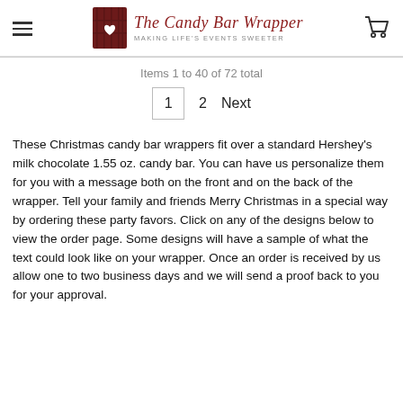The Candy Bar Wrapper — MAKING LIFE'S EVENTS SWEETER
Items 1 to 40 of 72 total
1  2  Next
These Christmas candy bar wrappers fit over a standard Hershey's milk chocolate 1.55 oz. candy bar. You can have us personalize them for you with a message both on the front and on the back of the wrapper. Tell your family and friends Merry Christmas in a special way by ordering these party favors. Click on any of the designs below to view the order page. Some designs will have a sample of what the text could look like on your wrapper. Once an order is received by us allow one to two business days and we will send a proof back to you for your approval.